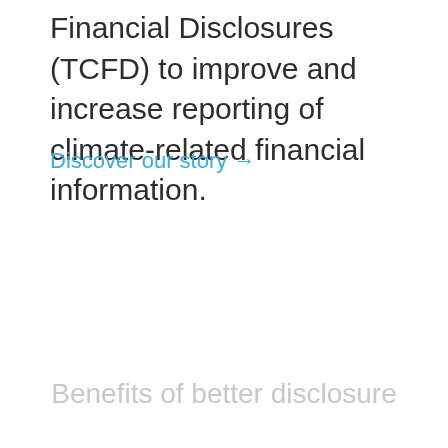Financial Disclosures (TCFD) to improve and increase reporting of climate-related financial information.
Discover our story →
Benefits of better disclosure